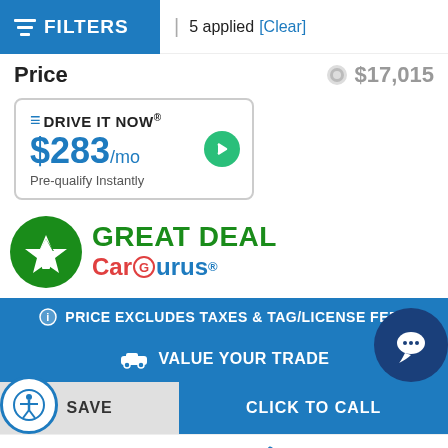FILTERS | 5 applied [Clear]
Price  $17,015
DRIVE IT NOW® $283/mo Pre-qualify Instantly
[Figure (logo): Great Deal CarGurus badge with green upward arrow circle and CarGurus logo]
PRICE EXCLUDES TAXES & TAG/LICENSE FEES
VALUE YOUR TRADE
SAVE  CLICK TO CALL
New  Used  Call  Finance